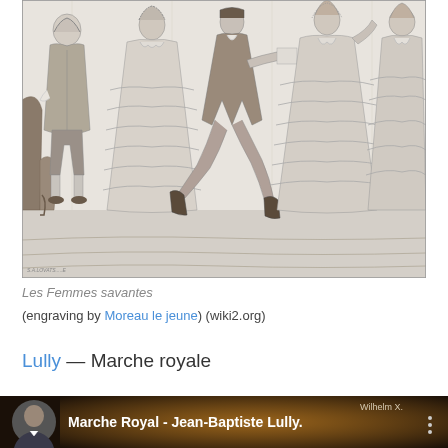[Figure (illustration): A black-and-white engraving depicting a scene from Les Femmes savantes, showing several figures in 17th/18th century French court dress — men in coats and breeches, women in elaborate ruffled gowns — in an interior setting.]
Les Femmes savantes
(engraving by Moreau le jeune) (wiki2.org)
Lully — Marche royale
[Figure (screenshot): A YouTube video thumbnail showing a man in a suit on the left side, with the title 'Marche Royal - Jean-Baptiste Lully.' and a channel name 'Wilhelm X' in the upper right corner, against a dark golden background.]